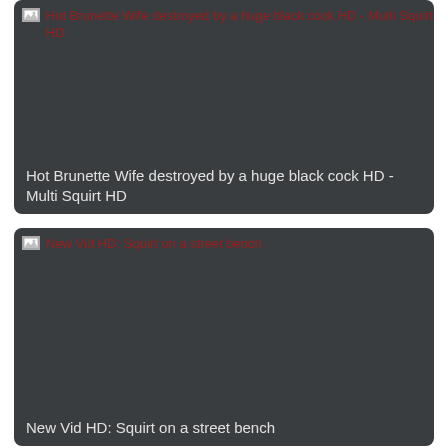[Figure (screenshot): Video thumbnail card with broken image placeholder and red alt text reading 'Hot Brunette Wife destroyed by a huge black cock HD - Multi Squirt HD', on dark gray background. Caption at bottom reads: Hot Brunette Wife destroyed by a huge black cock HD - Multi Squirt HD]
[Figure (screenshot): Video thumbnail card with broken image placeholder and red alt text reading 'New Vid HD: Squirt on a street bench', on dark gray background. Caption at bottom reads: New Vid HD: Squirt on a street bench]